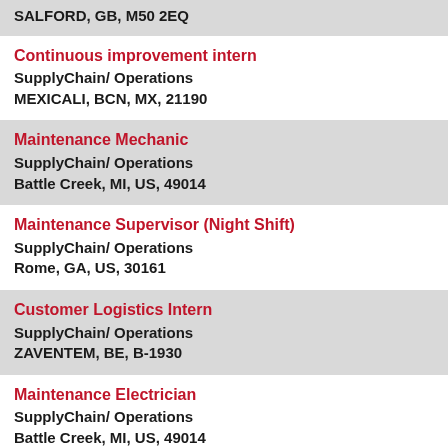SALFORD, GB, M50 2EQ
Continuous improvement intern
SupplyChain/ Operations
MEXICALI, BCN, MX, 21190
Maintenance Mechanic
SupplyChain/ Operations
Battle Creek, MI, US, 49014
Maintenance Supervisor (Night Shift)
SupplyChain/ Operations
Rome, GA, US, 30161
Customer Logistics Intern
SupplyChain/ Operations
ZAVENTEM, BE, B-1930
Maintenance Electrician
SupplyChain/ Operations
Battle Creek, MI, US, 49014